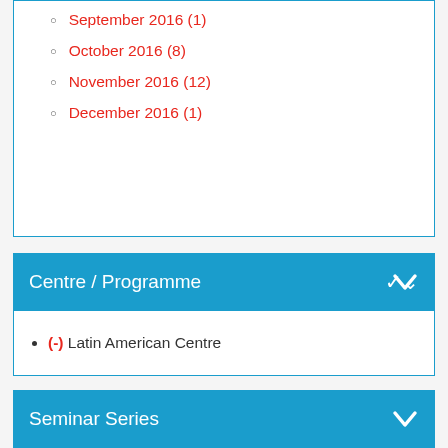September 2016 (1)
October 2016 (8)
November 2016 (12)
December 2016 (1)
Centre / Programme
(-) Latin American Centre
Seminar Series
Events archive
Search